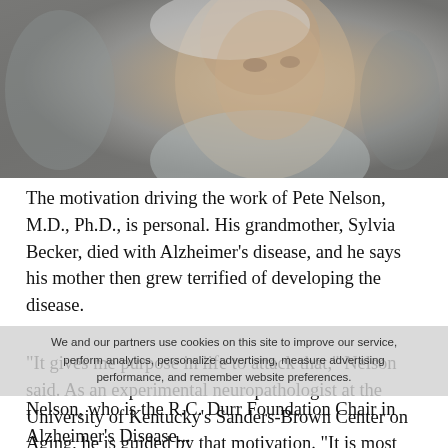[Figure (photo): Close-up photograph of an elderly woman with white hair, showing her face and upper body, with blurred figures in the background.]
The motivation driving the work of Pete Nelson, M.D., Ph.D., is personal. His grandmother, Sylvia Becker, died with Alzheimer's disease, and he says his mother then grew terrified of developing the disease.
"It gives me purpose in life to attack that," Nelson said. As an experimental neuropathologist at the University of Kentucky's Sanders-Brown Center on Aging, he is guided by that motivation. "It is most every researcher's dream to help identify and classify a disease, and then to go on and help beat it."
We and our partners use cookies on this site to improve our service, perform analytics, personalize advertising, measure advertising performance, and remember website preferences.
Nelson, who is the R.C. Durr Foundation Chair in Alzheimer's Disease...